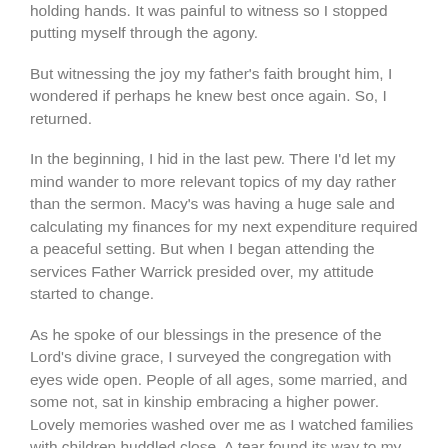holding hands. It was painful to witness so I stopped putting myself through the agony.
But witnessing the joy my father's faith brought him, I wondered if perhaps he knew best once again. So, I returned.
In the beginning, I hid in the last pew. There I'd let my mind wander to more relevant topics of my day rather than the sermon. Macy's was having a huge sale and calculating my finances for my next expenditure required a peaceful setting. But when I began attending the services Father Warrick presided over, my attitude started to change.
As he spoke of our blessings in the presence of the Lord's divine grace, I surveyed the congregation with eyes wide open. People of all ages, some married, and some not, sat in kinship embracing a higher power. Lovely memories washed over me as I watched families with children huddled close. A tear found its way to my eye recalling my own four babies crawling all over my body before snuggling in my lap as I lowered my head in prayer.
Two months later, on October 28th, my daddy slipped away to heaven while resting in my arms. In that moment I understood what